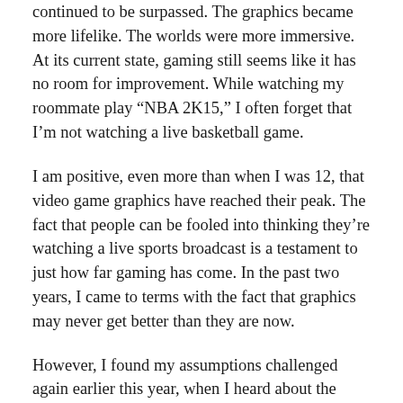continued to be surpassed. The graphics became more lifelike. The worlds were more immersive. At its current state, gaming still seems like it has no room for improvement. While watching my roommate play “NBA 2K15,” I often forget that I’m not watching a live basketball game.
I am positive, even more than when I was 12, that video game graphics have reached their peak. The fact that people can be fooled into thinking they’re watching a live sports broadcast is a testament to just how far gaming has come. In the past two years, I came to terms with the fact that graphics may never get better than they are now.
However, I found my assumptions challenged again earlier this year, when I heard about the Oculus Rift virtual reality headset. It wasn’t just changing video game graphics; it was completely revolutionizing the way we experience them. I felt the same way about the